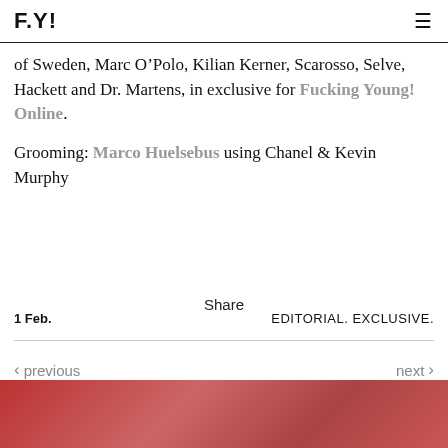F.Y!
of Sweden, Marc O'Polo, Kilian Kerner, Scarosso, Selve, Hackett and Dr. Martens, in exclusive for Fucking Young! Online.
Grooming: Marco Huelsebus using Chanel & Kevin Murphy
Share
1 Feb.   EDITORIAL. EXCLUSIVE.
< previous   next >
[Figure (photo): Partial thumbnail image strip at the bottom of the page, showing a reddish/orange colored photo preview]